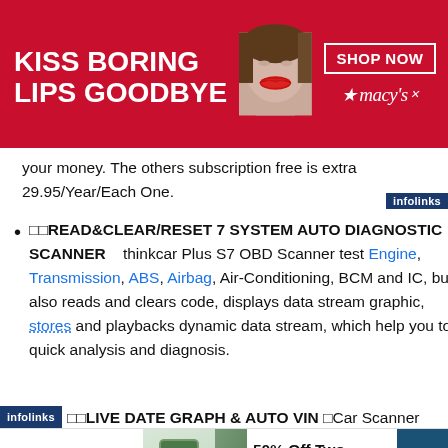[Figure (photo): Top banner advertisement for Macy's with red background, 'KISS BORING LIPS GOODBYE' text on left, woman's face with red lips in center, 'SHOP NOW' button and Macy's star logo on right]
your money. The others subscription free is extra 29.95/Year/Each One.
🔲🔲READ&CLEAR/RESET 7 SYSTEM AUTO DIAGNOSTIC SCANNER    thinkcar Plus S7 OBD Scanner test Engine, Transmission, ABS, Airbag, Air-Conditioning, BCM and IC, but also reads and clears code, displays data stream graphic, stores and playbacks dynamic data stream, which help you to quick analysis and diagnosis.
🔲🔲LIVE DATE GRAPH & AUTO VIN 🔲Car Scanner
[Figure (photo): Bottom banner advertisement for SmartPak featuring '50% Off Two Months of ColiCare' offer with horse supplement product, horse and rider photo, CODE: COLICARE10, Shop Now button]